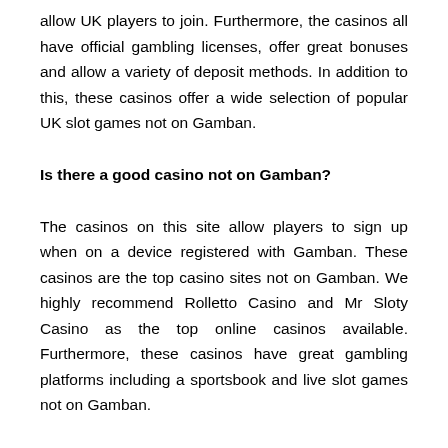allow UK players to join. Furthermore, the casinos all have official gambling licenses, offer great bonuses and allow a variety of deposit methods. In addition to this, these casinos offer a wide selection of popular UK slot games not on Gamban.
Is there a good casino not on Gamban?
The casinos on this site allow players to sign up when on a device registered with Gamban. These casinos are the top casino sites not on Gamban. We highly recommend Rolletto Casino and Mr Sloty Casino as the top online casinos available. Furthermore, these casinos have great gambling platforms including a sportsbook and live slot games not on Gamban.
How to get around Gamban?